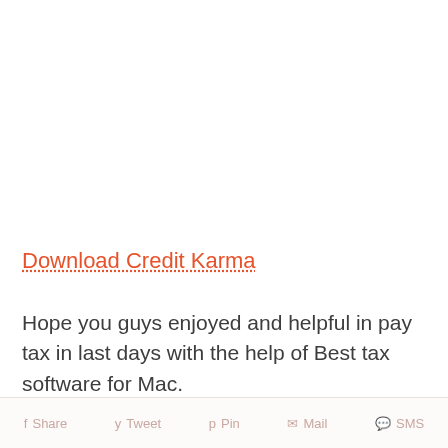Download Credit Karma
Hope you guys enjoyed and helpful in pay tax in last days with the help of Best tax software for Mac.
Share  Tweet  Pin  Mail  SMS